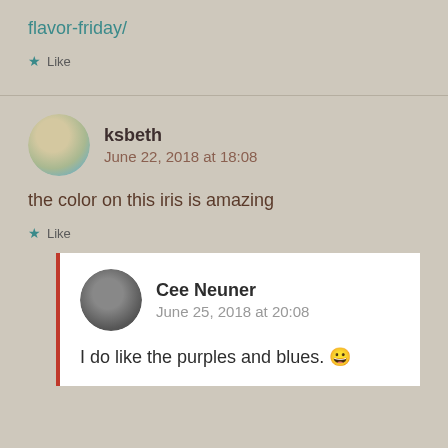flavor-friday/
★ Like
ksbeth
June 22, 2018 at 18:08
the color on this iris is amazing
★ Like
Cee Neuner
June 25, 2018 at 20:08
I do like the purples and blues. 😀